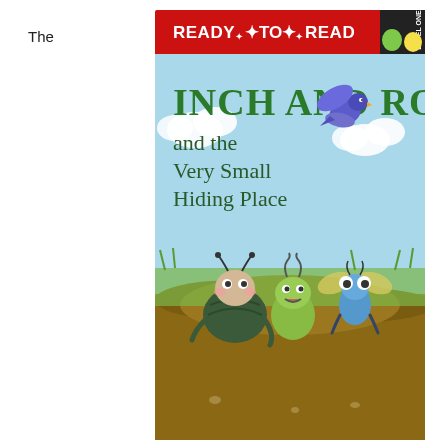The
[Figure (illustration): Book cover of 'Inch and Roly and the Very Small Hiding Place' — a Ready-to-Read Level One children's book. The cover features a colorful illustrated scene with three cartoon bug characters (a roly poly, an inchworm, and a firefly) looking upward at a purple/blue bird flying above them. Background shows a sky with clouds and grass. The top of the cover has the red Ready-to-Read Level One logo with two cartoon bug mascots. The title 'INCH AND ROLY and the Very Small Hiding Place' is displayed in large green lettering.]